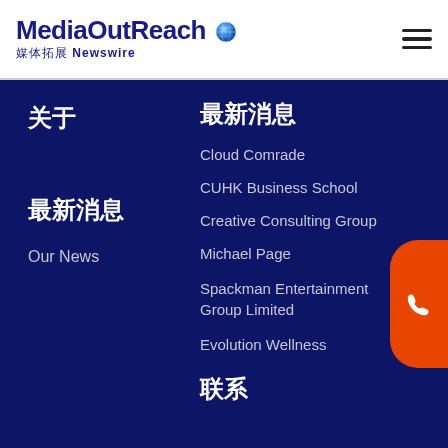[Figure (logo): MediaOutReach Newswire logo with globe icon and Chinese characters 媒体拓展]
[Figure (other): Hamburger menu icon (three horizontal lines)]
关于
最新消息
Cloud Comrade
CUHK Business School
Creative Consulting Group
Michael Page
Spackman Entertainment Group Limited
Evolution Wellness
关于
联系我们
Our News
联系